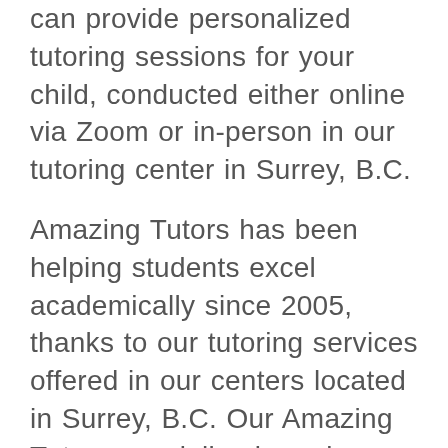can provide personalized tutoring sessions for your child, conducted either online via Zoom or in-person in our tutoring center in Surrey, B.C.
Amazing Tutors has been helping students excel academically since 2005, thanks to our tutoring services offered in our centers located in Surrey, B.C. Our Amazing Tutors specialize in various subjects, including Math, Science, English, and French. Amazing Tutors has highly experienced tutors specializing in Math, Chemistry, Physics, and Biology. To help your child